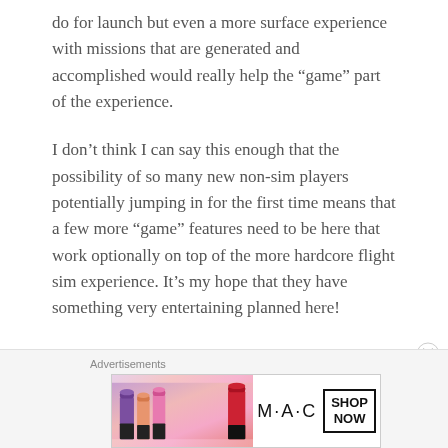do for launch but even a more surface experience with missions that are generated and accomplished would really help the “game” part of the experience.
I don’t think I can say this enough that the possibility of so many new non-sim players potentially jumping in for the first time means that a few more “game” features need to be here that work optionally on top of the more hardcore flight sim experience. It’s my hope that they have something very entertaining planned here!
[Figure (other): Advertisement banner for MAC cosmetics showing lipsticks and a SHOP NOW call-to-action box]